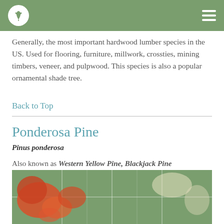Generally, the most important hardwood lumber species in the US. Used for flooring, furniture, millwork, crossties, mining timbers, veneer, and pulpwood. This species is also a popular ornamental shade tree.
Back to Top
Ponderosa Pine
Pinus ponderosa
Also known as Western Yellow Pine, Blackjack Pine
Natural Range (see below) : West
[Figure (map): Map of the United States showing the natural range of Ponderosa Pine highlighted in orange/red in the western regions]